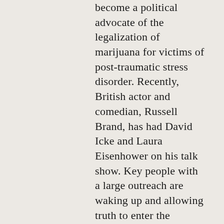become a political advocate of the legalization of marijuana for victims of post-traumatic stress disorder. Recently, British actor and comedian, Russell Brand, has had David Icke and Laura Eisenhower on his talk show. Key people with a large outreach are waking up and allowing truth to enter the mainstream media; but they need our support as they try to